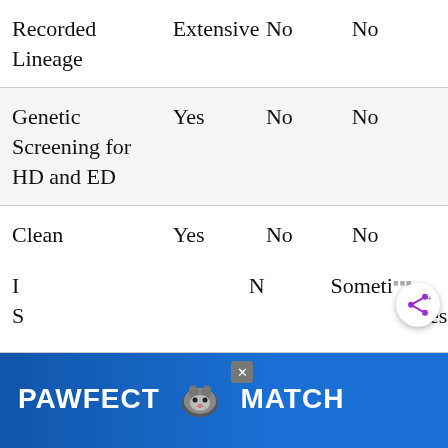|  | Responsible Breeder | Backyard Breeder | Puppy Mill |
| --- | --- | --- | --- |
| Recorded Lineage | Extensive | No | No |
| Genetic Screening for HD and ED | Yes | No | No |
| Clean Breeding Facilities | Yes | No | No |
| Breed Club Member | Yes | No | Sometimes |
| Inbreeding | No | No | Sometimes |